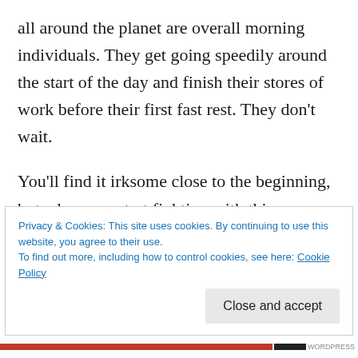all around the planet are overall morning individuals. They get going speedily around the start of the day and finish their stores of work before their first fast rest. They don't wait.
You'll find it irksome close to the beginning, but when you start fighting with this penchant, it will turn out to be a piece of who you genuinely are. Best writers do this is because they need to, not in light of the fact that they need to.
Privacy & Cookies: This site uses cookies. By continuing to use this website, you agree to their use.
To find out more, including how to control cookies, see here: Cookie Policy
Close and accept